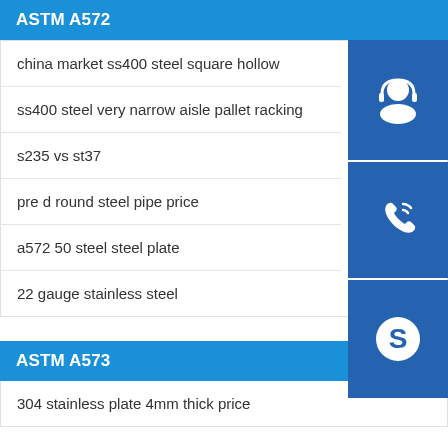ASTM A572
china market ss400 steel square hollow
ss400 steel very narrow aisle pallet racking
s235 vs st37
pre d round steel pipe price
a572 50 steel steel plate
22 gauge stainless steel
[Figure (infographic): Three blue icon buttons stacked vertically on the right side: a headset/customer service icon, a phone with signal waves icon, and a Skype logo icon]
ASTM A573
304 stainless plate 4mm thick price